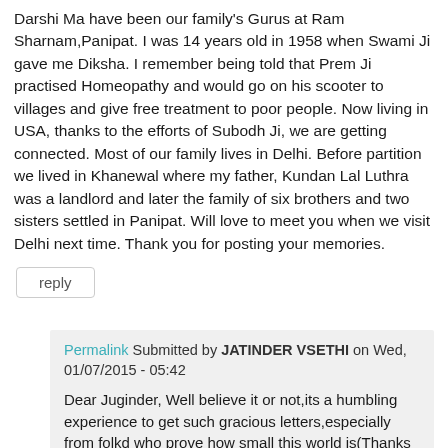Darshi Ma have been our family's Gurus at Ram Sharnam,Panipat. I was 14 years old in 1958 when Swami Ji gave me Diksha. I remember being told that Prem Ji practised Homeopathy and would go on his scooter to villages and give free treatment to poor people. Now living in USA, thanks to the efforts of Subodh Ji, we are getting connected. Most of our family lives in Delhi. Before partition we lived in Khanewal where my father, Kundan Lal Luthra was a landlord and later the family of six brothers and two sisters settled in Panipat. Will love to meet you when we visit Delhi next time. Thank you for posting your memories.
reply
Permalink Submitted by JATINDER VSETHI on Wed, 01/07/2015 - 05:42
Dear Juginder, Well believe it or not,its a humbling experience to get such gracious letters,especially from folkd who prove how small this world is(Thanks to people like Subodh